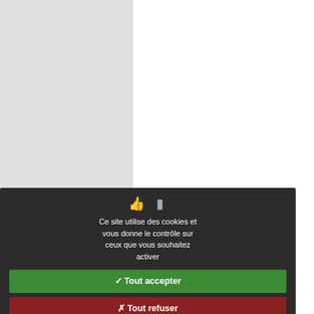[Figure (map): Partial view of a black and white map/plan diagram, cropped at top-right of the page]
egrandir  Original (jpeg, 204k) ↓
ource: Dandena Tufa, "Historical Devel
thiopian Studies, vol. 41, nos. 1-2, 200
he issue of the connectivity between
mportant link between the activities
he Ethiopian capital, came up agai
ritish had planned roads leading to
Patrick Abercrombie (1879-1957), w
etween 1954 and 1956, and, secon
om 1959. In this context, the desig
xisting infrastructural axes set d
extended by British planners. The pl
whereas the Baumbachs (like Polón
volving from the existing areas.
his kind of embedding in the existi
centre that was supposed to be buil
Ce site utilise des cookies et vous donne le contrôle sur ceux que vous souhaitez activer
✓ Tout accepter
✗ Tout refuser
Personnaliser
Politique de confidentialité